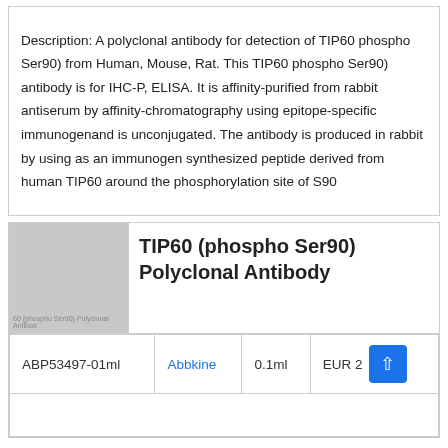Description: A polyclonal antibody for detection of TIP60 phospho Ser90) from Human, Mouse, Rat. This TIP60 phospho Ser90) antibody is for IHC-P, ELISA. It is affinity-purified from rabbit antiserum by affinity-chromatography using epitope-specific immunogenand is unconjugated. The antibody is produced in rabbit by using as an immunogen synthesized peptide derived from human TIP60 around the phosphorylation site of S90
[Figure (photo): Product image placeholder for TIP60 (phospho Ser90) Polyclonal Antibody, gray rectangle with text label]
TIP60 (phospho Ser90) Polyclonal Antibody
|  |  |  |  |
| --- | --- | --- | --- |
| ABP53497-01ml | Abbkine | 0.1ml | EUR 2... |